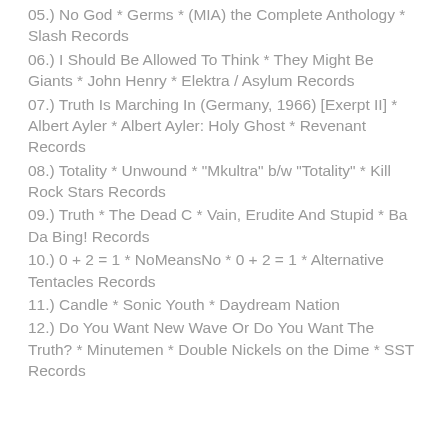05.) No God * Germs * (MIA) the Complete Anthology * Slash Records
06.) I Should Be Allowed To Think * They Might Be Giants * John Henry * Elektra / Asylum Records
07.) Truth Is Marching In (Germany, 1966) [Exerpt II] * Albert Ayler * Albert Ayler: Holy Ghost * Revenant Records
08.) Totality * Unwound * "Mkultra" b/w "Totality" * Kill Rock Stars Records
09.) Truth * The Dead C * Vain, Erudite And Stupid * Ba Da Bing! Records
10.) 0 + 2 = 1 * NoMeansNo * 0 + 2 = 1 * Alternative Tentacles Records
11.) Candle * Sonic Youth * Daydream Nation
12.) Do You Want New Wave Or Do You Want The Truth? * Minutemen * Double Nickels on the Dime * SST Records